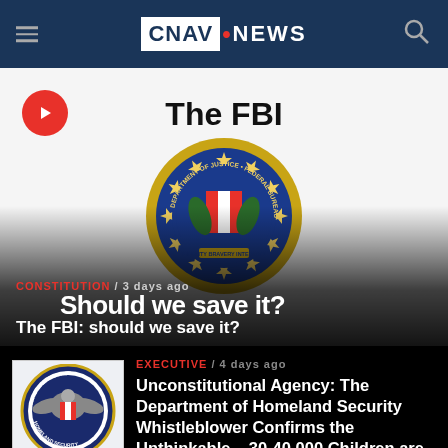CNAV.NEWS
[Figure (screenshot): Featured video thumbnail showing the FBI seal on a white background with text 'The FBI Should we save it?' overlaid. Red play button in top-left corner. Category tag 'CONSTITUTION / 3 days ago' and headline 'The FBI: should we save it?' overlaid at bottom.]
The FBI: should we save it?
[Figure (logo): U.S. Department of Homeland Security circular seal logo]
EXECUTIVE / 4 days ago
Unconstitutional Agency: The Department of Homeland Security Whistleblower Confirms the Unthinkable – 30-40,000 Children are Being Smuggled Through Texas! (Video)